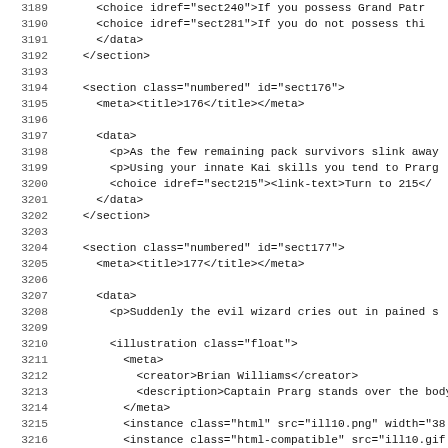3189    <choice idref="sect240">If you possess Grand Patr
3190    <choice idref="sect281">If you do not possess thi
3191      </data>
3192    </section>
3193
3194    <section class="numbered" id="sect176">
3195      <meta><title>176</title></meta>
3196
3197      <data>
3198        <p>As the few remaining pack survivors slink away
3199        <p>Using your innate Kai skills you tend to Prarg
3200        <choice idref="sect215"><link-text>Turn to 215</
3201      </data>
3202    </section>
3203
3204    <section class="numbered" id="sect177">
3205      <meta><title>177</title></meta>
3206
3207      <data>
3208        <p>Suddenly the evil wizard cries out in pained s
3209
3210        <illustration class="float">
3211          <meta>
3212            <creator>Brian Williams</creator>
3213            <description>Captain Prarg stands over the body
3214          </meta>
3215          <instance class="html" src="ill10.png" width="38
3216          <instance class="html-compatible" src="ill10.gif
3217          <instance class="pdf" src="ill10.pdf" width="386
3218        </illustration>
3219
3220        <p><quote>Well met, Sire,</quote> he says excitec
3221